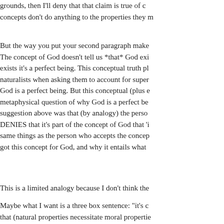grounds, then I'll deny that that claim is true of concepts don't do anything to the properties they
But the way you put your second paragraph makes The concept of God doesn't tell us *that* God exi exists it's a perfect being. This conceptual truth pl naturalists when asking them to account for super God is a perfect being. But this conceptual (plus e metaphysical question of why God is a perfect be suggestion above was that (by analogy) the perso DENIES that it's part of the concept of God that 'i same things as the person who accepts the concep got this concept for God, and why it entails what
This is a limited analogy because I don't think the
Maybe what I want is a three box sentence: "it's c that (natural properties necessitate moral propertie supervenience claim, the middle one is the genera the conceptual general supervenience claim.
Posted by: Aaron Elliott | July 30, 2014 at 04:41 PM
Jamie, what if I put it this way? Our concept of ba assumption) that the property bachelorhood super needs explanation. The answer is that bachelorhoo constituent properties. This is the general level (co this up for me). Then we ask the next supervenien